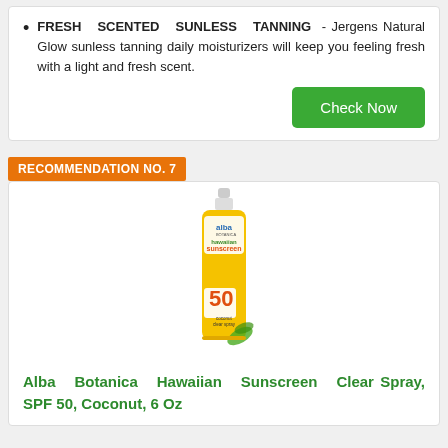FRESH SCENTED SUNLESS TANNING - Jergens Natural Glow sunless tanning daily moisturizers will keep you feeling fresh with a light and fresh scent.
Check Now
RECOMMENDATION NO. 7
[Figure (photo): Yellow spray bottle of Alba Botanica Hawaiian Sunscreen SPF 50 Coconut Clear Spray]
Alba Botanica Hawaiian Sunscreen Clear Spray, SPF 50, Coconut, 6 Oz